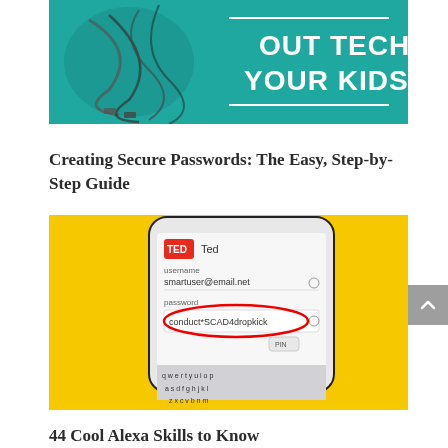[Figure (illustration): Teal/turquoise promotional banner image showing tangled cables/headphones and bold white text reading 'OUT TECH YOUR KIDS']
Creating Secure Passwords: The Easy, Step-by-Step Guide
[Figure (screenshot): Screenshot of a smartphone app (TED) showing a login form with username 'smartuser@email.net' and a password field containing 'conduct*SCAD4dropkick' circled in red, set against a yellow background with keyboard visible]
44 Cool Alexa Skills to Know